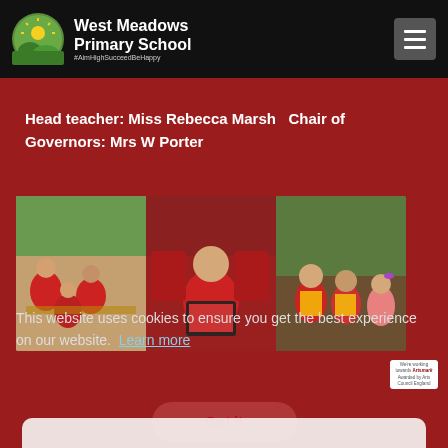West Meadows Primary School #AimHighSucceedBeHappy
Head teacher: Miss Rebecca Marsh   Chair of Governors: Mrs W Porter
[Figure (photo): Three-panel photo strip showing primary school children in red uniforms: left panel children working on a table activity, middle panel a child using a tablet computer, right panel children outdoors in high-vis vests smiling]
This website uses cookies to ensure you get the best experience on our website. Learn more
Got it